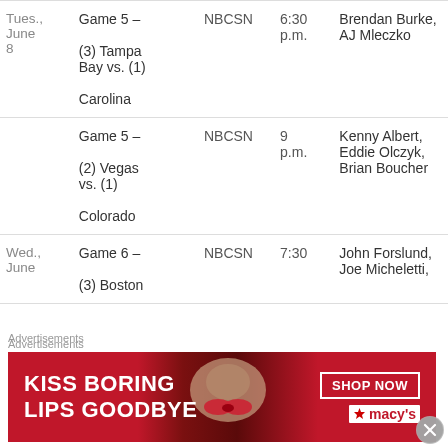| Date | Game | Network | Time | Crew |
| --- | --- | --- | --- | --- |
| Tues., June 8 | Game 5 – (3) Tampa Bay vs. (1) Carolina | NBCSN | 6:30 p.m. | Brendan Burke, AJ Mleczko |
|  | Game 5 – (2) Vegas vs. (1) Colorado | NBCSN | 9 p.m. | Kenny Albert, Eddie Olczyk, Brian Boucher |
| Wed., June | Game 6 – (3) Boston | NBCSN | 7:30 | John Forslund, Joe Micheletti, |
Advertisements
[Figure (illustration): Macy's advertisement banner: 'KISS BORING LIPS GOODBYE' with SHOP NOW button and Macy's star logo on red background with woman's face]